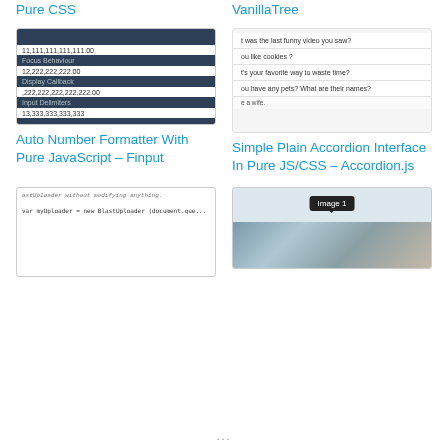Pure CSS
VanillaTree
[Figure (screenshot): Finput number formatter UI showing dark header rows with labels like 'Focus Behaviour', 'Display Callback', 'Input Delimiters' and formatted number values like 11,111,111,111,111.00]
[Figure (screenshot): Accordion interface showing questions: 'What was the last funny video you saw?', 'Do you like cookies?', 'What's your favorite way to waste time?', 'Do you have any pets? What are their names?', with answer 'e a wife.']
Auto Number Formatter With Pure JavaScript – Finput
Simple Plain Accordion Interface In Pure JS/CSS – Accordion.js
[Figure (screenshot): Code screenshot showing JavaScript code for BlastUploader without modifying anything, with a line: var myUploader = new BlastUploader (document.que...]
[Figure (screenshot): Image tooltip screenshot showing 'Image 1' tooltip over a photograph with trees and sky]
...